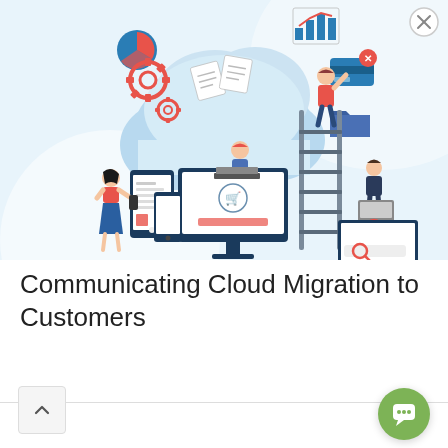[Figure (illustration): Cloud migration illustration showing people uploading documents to a cloud, with icons for charts, gears, database cards, and devices including monitor, tablet, phone, and laptop on a light blue background]
Communicating Cloud Migration to Customers